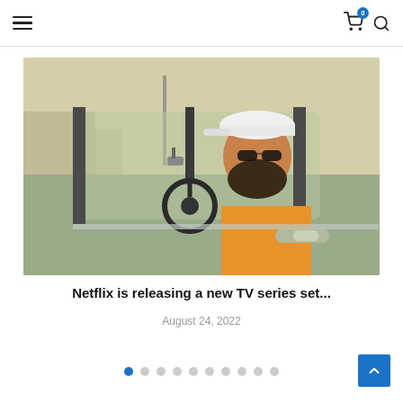Navigation bar with hamburger menu, cart icon with badge 0, and search icon
[Figure (photo): A man wearing an orange shirt and white baseball cap sitting in the driver's seat of a vintage light green/sage colored classic car, looking sideways. Urban background visible outside the car window.]
Netflix is releasing a new TV series set...
August 24, 2022
Pagination dots: 1 active, 9 inactive